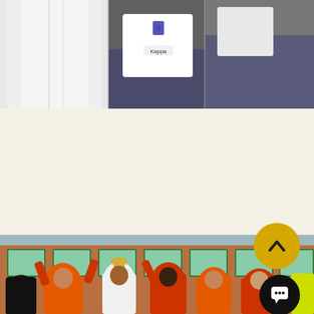[Figure (photo): Three-panel collage of photos at top: left panel shows white fabric/jersey, center panel shows a man in jeans and a white Kappa jersey, right panel shows another person in jeans]
Rafael signs for Bury FC
9th September 2017
We are delighted to announce that our very own Rafa has signed for Bury FC. His thundering pace and wicked shooting ability will be their gain! Good luck Rafa!
[Figure (photo): Group of young boys in orange football/soccer kits celebrating with a trophy, raising their arms and cheering, outdoors in front of a brick building with green-framed windows]